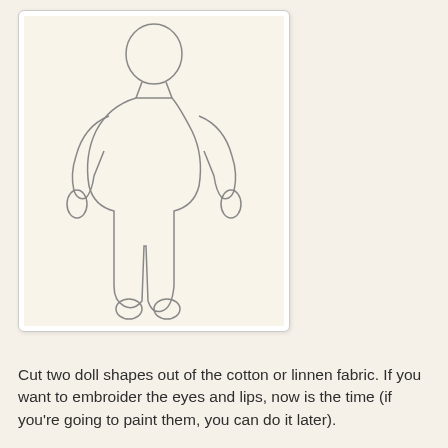[Figure (illustration): Outline drawing of a doll shape (human figure with arms and legs) on a light cream/beige background, shown within a white bordered photo frame.]
Cut two doll shapes out of the cotton or linnen fabric. If you want to embroider the eyes and lips, now is the time (if you're going to paint them, you can do it later).
Sew them together right sides facing each other, but remember to leave a small hole to turn the doll inside out! (I leave it at the hip area).
Turn the doll inside out and stuff it with a cotton-wool, helping yourself with a pencil or a chopstick to make sure the stuffing gets to the ends of the hands and feet.
Whip stitch the opening
[Figure (photo): Partial photo visible at the bottom of the page, appears to show craft/sewing materials, cropped.]